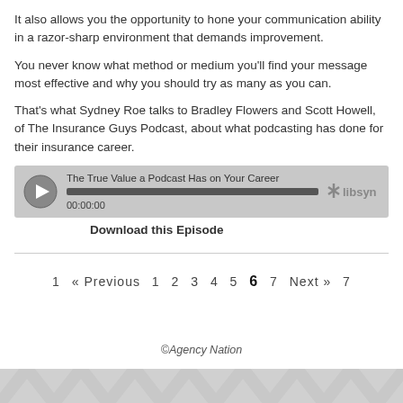It also allows you the opportunity to hone your communication ability in a razor-sharp environment that demands improvement.
You never know what method or medium you'll find your message most effective and why you should try as many as you can.
That's what Sydney Roe talks to Bradley Flowers and Scott Howell, of The Insurance Guys Podcast, about what podcasting has done for their insurance career.
[Figure (other): Audio player widget showing 'The True Value a Podcast Has on Your Career', with a play button, full progress bar at 00:00:00, and Libsyn logo]
Download this Episode
1  « Previous  1  2  3  4  5  6  7  Next »  7
©Agency Nation